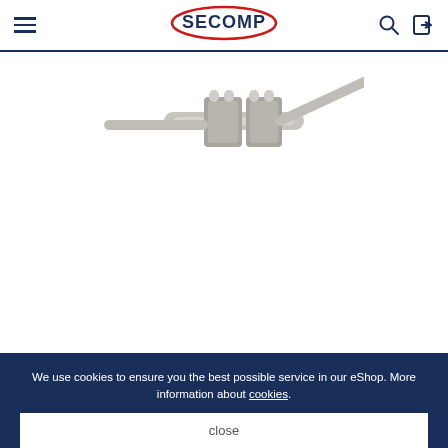[Figure (logo): SECOMP logo with red oval border and dark blue text, with hamburger menu icon on left and search/login icons on right]
[Figure (photo): Close-up photo of fiber optic LC duplex connector ends in gray/white, partially visible at top]
[Figure (photo): Thumbnail image 1 (selected/active): fiber optic LC-LC duplex patch cable with aqua/teal colored cables, connectors visible]
[Figure (photo): Thumbnail image 2: close-up of LC duplex connectors with yellow latch clips on aqua/teal fiber cable]
We use cookies to ensure you the best possible service in our eShop. More information about cookies.
close